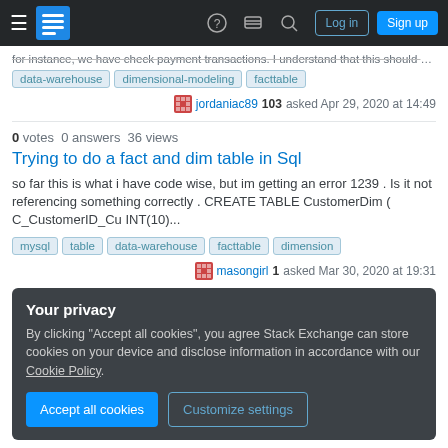Stack Exchange navigation bar with hamburger menu, logo, help, chat, search icons, Log in and Sign up buttons
for instance, we have check payment transactions. I understand that this should be...
data-warehouse   dimensional-modeling   facttable
jordaniac89  103  asked Apr 29, 2020 at 14:49
0 votes  0 answers  36 views
Trying to do a fact and dim table in Sql
so far this is what i have code wise, but im getting an error 1239 . Is it not referencing something correctly . CREATE TABLE CustomerDim ( C_CustomerID_Cu INT(10)...
mysql   table   data-warehouse   facttable   dimension
masongirl  1  asked Mar 30, 2020 at 19:31
Your privacy
By clicking "Accept all cookies", you agree Stack Exchange can store cookies on your device and disclose information in accordance with our Cookie Policy.
Accept all cookies   Customize settings
dimension